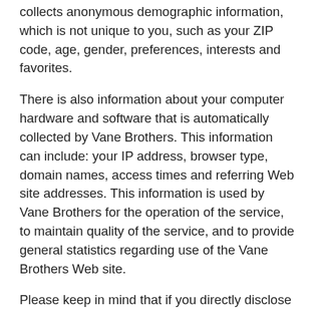collects anonymous demographic information, which is not unique to you, such as your ZIP code, age, gender, preferences, interests and favorites.
There is also information about your computer hardware and software that is automatically collected by Vane Brothers. This information can include: your IP address, browser type, domain names, access times and referring Web site addresses. This information is used by Vane Brothers for the operation of the service, to maintain quality of the service, and to provide general statistics regarding use of the Vane Brothers Web site.
Please keep in mind that if you directly disclose personally identifiable information or personally sensitive data through Vane Brothers public message boards, this information may be collected and used by others. Note: Vane Brothers does not read any of your private online